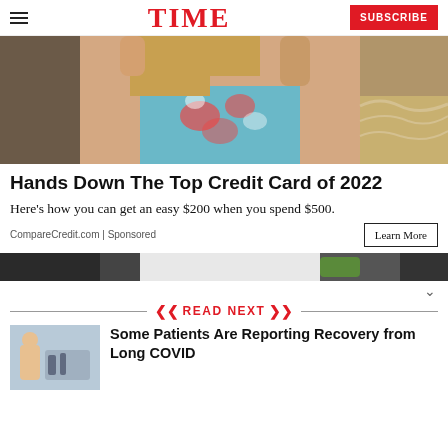TIME | SUBSCRIBE
[Figure (photo): Woman in floral swimsuit at beach with ocean waves in background]
Hands Down The Top Credit Card of 2022
Here’s how you can get an easy $200 when you spend $500.
CompareCredit.com | Sponsored
[Figure (photo): Partial image strip showing partial photo]
READ NEXT
Some Patients Are Reporting Recovery from Long COVID